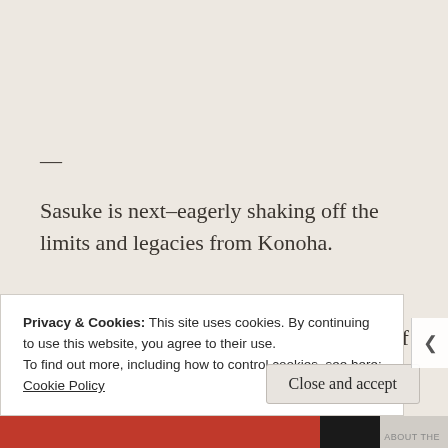—
Sasuke is next–eagerly shaking off the limits and legacies from Konoha.
The tangled, dusty, and sticky cobwebs of the
Privacy & Cookies: This site uses cookies. By continuing to use this website, you agree to their use.
To find out more, including how to control cookies, see here:
Cookie Policy
Close and accept